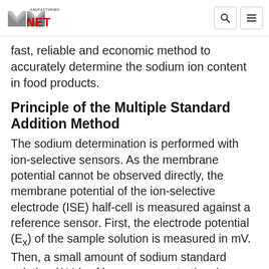Manufacturing NET
fast, reliable and economic method to accurately determine the sodium ion content in food products.
Principle of the Multiple Standard Addition Method
The sodium determination is performed with ion-selective sensors. As the membrane potential cannot be observed directly, the membrane potential of the ion-selective electrode (ISE) half-cell is measured against a reference sensor. First, the electrode potential (Ex) of the sample solution is measured in mV. Then, a small amount of sodium standard solution (ΔVs), of known concentration, is added to the sample solution several times in succession. The addition of the sodium standard increases the sodium